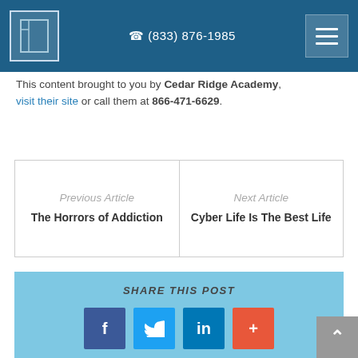☎ (833) 876-1985
This content brought to you by Cedar Ridge Academy, visit their site or call them at 866-471-6629.
| Previous Article | Next Article |
| --- | --- |
| The Horrors of Addiction | Cyber Life Is The Best Life |
SHARE THIS POST
[Figure (infographic): Social share buttons: Facebook, Twitter, LinkedIn, and a plus/more button]